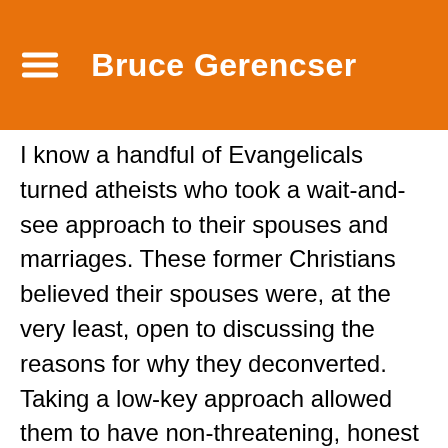Bruce Gerencser
I know a handful of Evangelicals turned atheists who took a wait-and-see approach to their spouses and marriages. These former Christians believed their spouses were, at the very least, open to discussing the reasons for why they deconverted. Taking a low-key approach allowed them to have non-threatening, honest discussions about God, Christianity, and the Bible. More often than not, these discussions bore fruit, leading to their spouses' later deconversion. Sometimes, it took years of discussions (and book recommendations) before their spouses came to see the light, so to speak. These former Evangelicals believed that